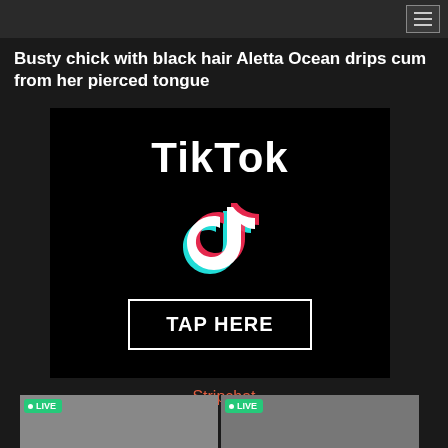Navigation menu
Busty chick with black hair Aletta Ocean drips cum from her pierced tongue
[Figure (other): TikTok advertisement banner with TikTok logo text, TikTok musical note icon, and a 'TAP HERE' button with white border on black background]
Stripchat
[Figure (photo): Two live webcam preview thumbnails from Stripchat, each with a green LIVE badge in the top-left corner]